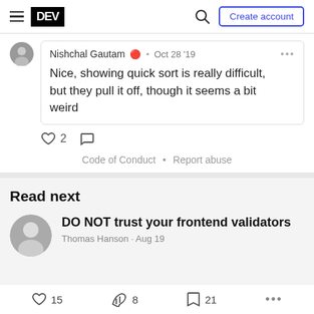DEV — Create account
Nishchal Gautam • Oct 28 '19
Nice, showing quick sort is really difficult, but they pull it off, though it seems a bit weird
♡ 2  ○
Code of Conduct • Report abuse
Read next
DO NOT trust your frontend validators
Thomas Hanson · Aug 19
♡ 15   8   21   ...